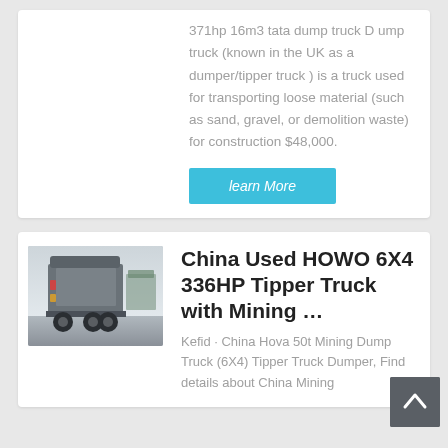371hp 16m3 tata dump truck D ump truck (known in the UK as a dumper/tipper truck ) is a truck used for transporting loose material (such as sand, gravel, or demolition waste) for construction $48,000.
learn More
[Figure (photo): Rear view of a heavy truck/tipper truck cab, parked outdoors]
China Used HOWO 6X4 336HP Tipper Truck with Mining …
Kefid · China Hova 50t Mining Dump Truck (6X4) Tipper Truck Dumper, Find details about China Mining